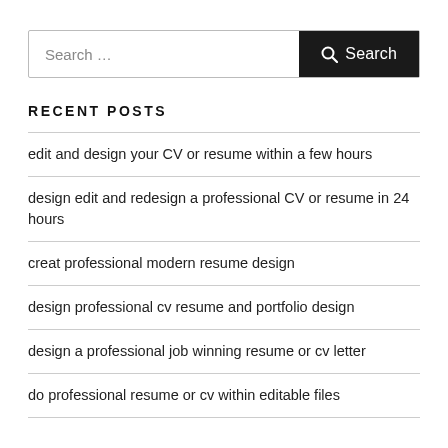Search …
RECENT POSTS
edit and design your CV or resume within a few hours
design edit and redesign a professional CV or resume in 24 hours
creat professional modern resume design
design professional cv resume and portfolio design
design a professional job winning resume or cv letter
do professional resume or cv within editable files